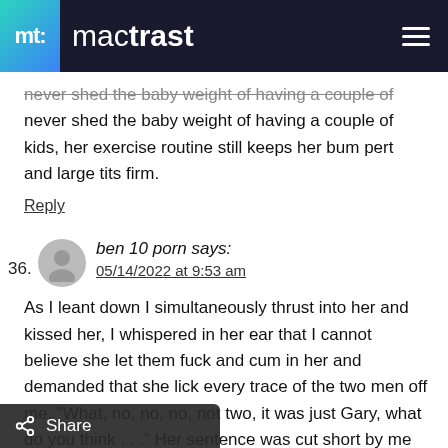mactrast
never shed the baby weight of having a couple of kids, her exercise routine still keeps her bum pert and large tits firm.
Reply
36. ben 10 porn says: 05/14/2022 at 9:53 am
As I leant down I simultaneously thrust into her and kissed her, I whispered in her ear that I cannot believe she let them fuck and cum in her and demanded that she lick every trace of the two men off me. “What, no, no, no, not two, it was just Gary, what do you think . . .” Her sentence was cut short by me pushing her legs down back to the bed, making her thong stretch from side to side of her face gagging her. “JUST